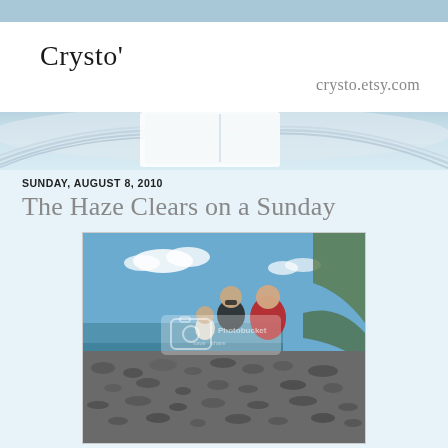Crysto'
crysto.etsy.com
[Figure (photo): Decorative book pages background strip]
SUNDAY, AUGUST 8, 2010
The Haze Clears on a Sunday
[Figure (photo): Family (adult with sunglasses, child in red jacket, and toddler) sitting on a rocky beach with blue sky and ocean in background. Photo has a Photobucket watermark.]
(our little family at the beach)
We have one week of our holidays completed, there is still